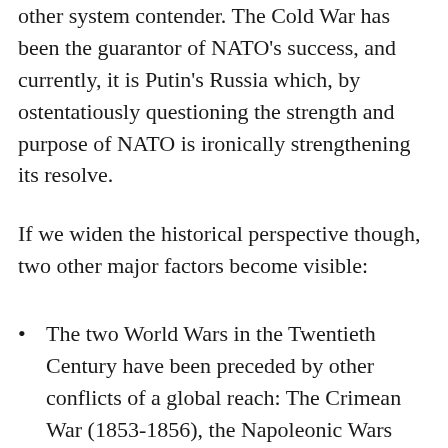other system contender. The Cold War has been the guarantor of NATO's success, and currently, it is Putin's Russia which, by ostentatiously questioning the strength and purpose of NATO is ironically strengthening its resolve.
If we widen the historical perspective though, two other major factors become visible:
The two World Wars in the Twentieth Century have been preceded by other conflicts of a global reach: The Crimean War (1853-1856), the Napoleonic Wars (1803-1815), the American Revolutionary War (1775-1783) the Seven Years War (1756-1763), the War of the Spanish Succession (1701...